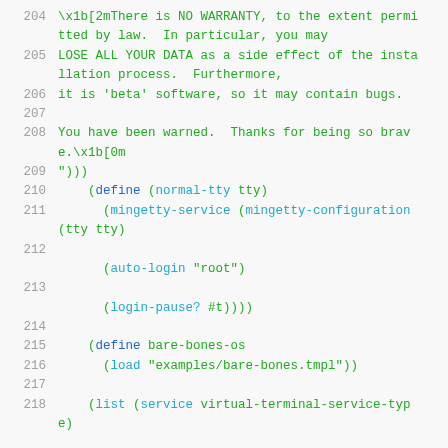204  \x1b[2mThere is NO WARRANTY, to the extent permitted by law.  In particular, you may
205  LOSE ALL YOUR DATA as a side effect of the installation process.  Furthermore,
206  it is 'beta' software, so it may contain bugs.
207
208  You have been warned.  Thanks for being so brave.\x1b[0m
209  ")))
210      (define (normal-tty tty)
211        (mingetty-service (mingetty-configuration (tty tty)
212
         (auto-login "root")
213
         (login-pause? #t))))
214
215      (define bare-bones-os
216        (load "examples/bare-bones.tmpl"))
217
218      (list (service virtual-terminal-service-type)